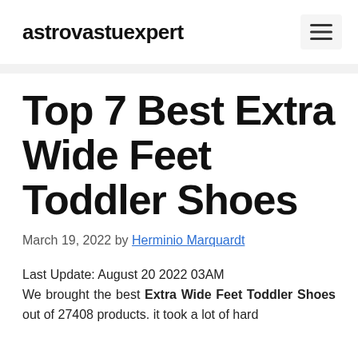astrovastuexpert
Top 7 Best Extra Wide Feet Toddler Shoes
March 19, 2022 by Herminio Marquardt
Last Update: August 20 2022 03AM
We brought the best Extra Wide Feet Toddler Shoes out of 27408 products. it took a lot of hard